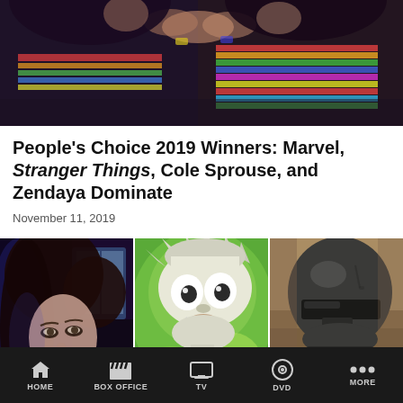[Figure (photo): Top hero image showing Stranger Things characters from behind, wearing colorful striped shirts and casual clothes]
People's Choice 2019 Winners: Marvel, Stranger Things, Cole Sprouse, and Zendaya Dominate
November 11, 2019
[Figure (photo): Three panel collage: left panel shows a young brunette woman in dramatic lighting (purple/blue tones), center panel shows Rick from Rick and Morty animated cartoon against green background, right panel shows The Mandalorian character in full helmet and armor]
HOME | BOX OFFICE | TV | DVD | MORE